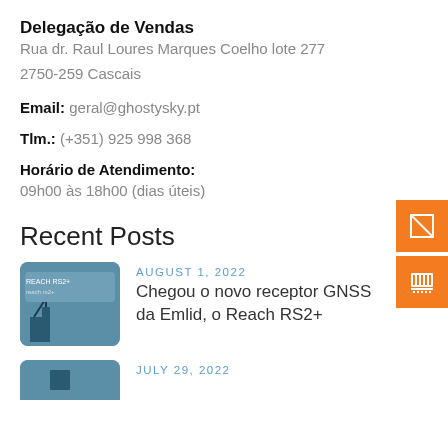Delegação de Vendas
Rua dr. Raul Loures Marques Coelho lote 277
2750-259 Cascais
Email: geral@ghostysky.pt
Tlm.: (+351) 925 998 368
Horário de Atendimento:
09h00 às 18h00 (dias úteis)
Recent Posts
[Figure (photo): Thumbnail image of GNSS receiver equipment against blue sky]
AUGUST 1, 2022
Chegou o novo receptor GNSS da Emlid, o Reach RS2+
[Figure (photo): Partial thumbnail for July 29 2022 post]
JULY 29, 2022